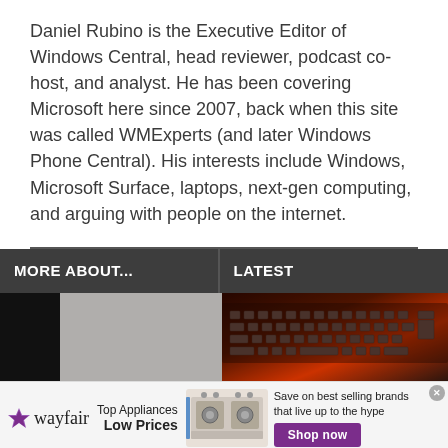Daniel Rubino is the Executive Editor of Windows Central, head reviewer, podcast co-host, and analyst. He has been covering Microsoft here since 2007, back when this site was called WMExperts (and later Windows Phone Central). His interests include Windows, Microsoft Surface, laptops, next-gen computing, and arguing with people on the internet.
MORE ABOUT...
LATEST
[Figure (photo): Left image: dark and gray toned photo, appears to show a device or appliance]
[Figure (photo): Right image: gaming keyboard with red/orange backlight]
[Figure (advertisement): Wayfair advertisement: Top Appliances Low Prices, Save on best selling brands that live up to the hype, Shop now button]